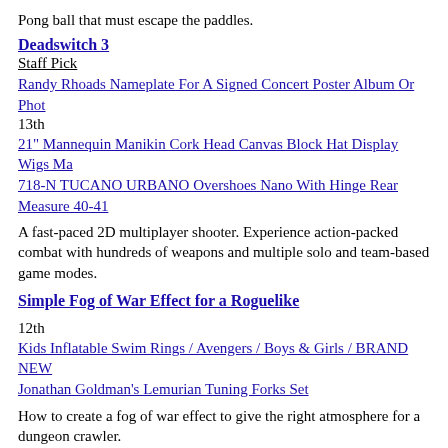Pong ball that must escape the paddles.
Deadswitch 3
Staff Pick
Randy Rhoads Nameplate For A Signed Concert Poster Album Or Phot
13th
21" Mannequin Manikin Cork Head Canvas Block Hat Display Wigs Ma
718-N TUCANO URBANO Overshoes Nano With Hinge Rear Measure 40-41
A fast-paced 2D multiplayer shooter. Experience action-packed combat with hundreds of weapons and multiple solo and team-based game modes.
Simple Fog of War Effect for a Roguelike
12th
Kids Inflatable Swim Rings / Avengers / Boys & Girls / BRAND NEW
Jonathan Goldman's Lemurian Tuning Forks Set
How to create a fog of war effect to give the right atmosphere for a dungeon crawler.